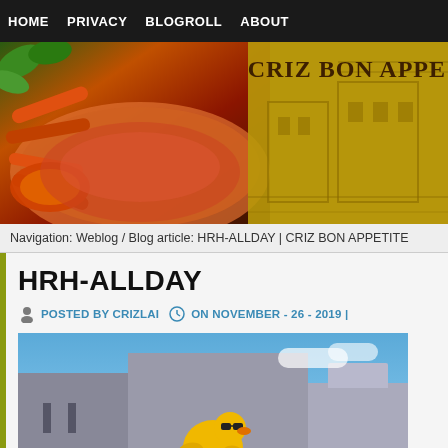HOME  PRIVACY  BLOGROLL  ABOUT
[Figure (photo): Blog header banner showing food (crab/seafood dish) on the left and a building illustration on right with text CRIZ BON APPE(TITE)]
Navigation: Weblog / Blog article: HRH-ALLDAY | CRIZ BON APPETITE
HRH-ALLDAY
POSTED BY CRIZLAI  ON NOVEMBER - 26 - 2019 |
[Figure (photo): Photo of a person holding a yellow Hard Rock Cafe rubber duck toy with sunglasses in front of a large building with blue sky background]